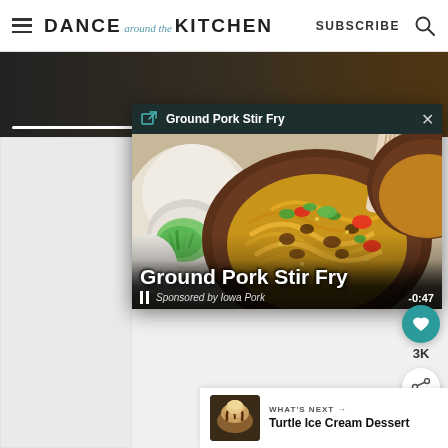DANCE around the KITCHEN   SUBSCRIBE
[Figure (screenshot): Dark video player bar showing a food image background with a progress bar at the bottom]
[Figure (screenshot): Floating video popup showing 'Ground Pork Stir Fry' with a photo of stir fry noodles with ground pork on a plate, pause button, sponsored by Iowa Pork label, and -0:47 time remaining]
3K
WHAT'S NEXT → Turtle Ice Cream Dessert